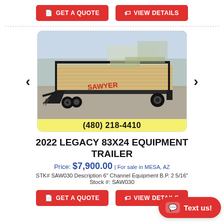[Figure (other): Two red call-to-action buttons: 'GET A QUOTE' and 'VIEW DETAILS']
[Figure (photo): Photo of a 2022 Legacy 83x24 equipment trailer (flatbed, wood deck, black steel frame) with a yellow phone number bar showing (480) 218-4410]
2022 LEGACY 83X24 EQUIPMENT TRAILER
Price: $7,900.00 | For sale in MESA, AZ
STK# SAW030 Description 6" Channel Equipment B.P. 2 5/16"
Stock #: SAW030
[Figure (other): Two red call-to-action buttons at the bottom: 'GET A QUOTE' and 'VIEW DETAILS']
[Figure (other): Red 'Text us!' chat bubble button in the bottom right corner]